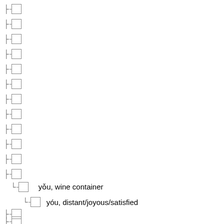├ □
├ □
├ □
├ □
├ □
├ □
├ □
├ □
├ □
├ □
├ □
├ □
└ □   yǒu, wine container
└ □     yóu, distant/joyous/satisfied
├ □
├ □
├ □